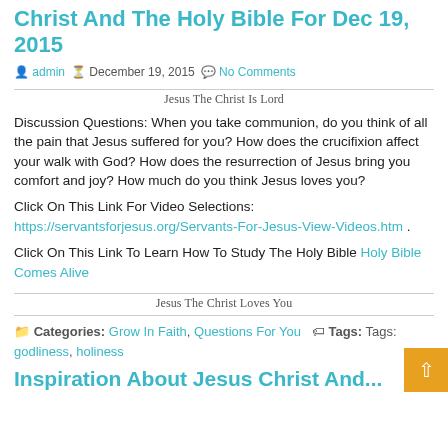Christ And The Holy Bible For Dec 19, 2015
admin  December 19, 2015  No Comments
Jesus The Christ Is Lord
Discussion Questions: When you take communion, do you think of all the pain that Jesus suffered for you?  How does the crucifixion affect your walk with God?  How does the resurrection of Jesus bring you comfort and joy?  How much do you think Jesus loves you?
Click On This Link For Video Selections: https://servantsforjesus.org/Servants-For-Jesus-View-Videos.htm .
Click On This Link To Learn How To Study The Holy Bible Holy Bible Comes Alive
Jesus The Christ Loves You
Categories: Grow In Faith, Questions For You  Tags: Tags: godliness, holiness
Inspiration About Jesus Christ And...